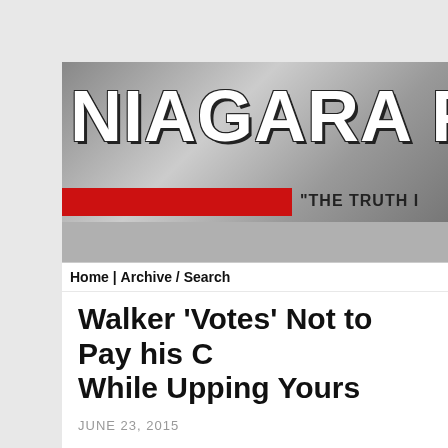[Figure (logo): Niagara Falls newspaper banner header with large bold white text 'NIAGARA FAL' (clipped), red bar, and tagline 'THE TRUTH I' (clipped) on a grey waterfall background]
Home | Archive / Search
Walker 'Votes' Not to Pay his C While Upping Yours
JUNE 23, 2015